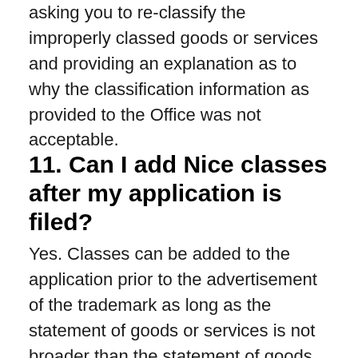asking you to re-classify the improperly classed goods or services and providing an explanation as to why the classification information as provided to the Office was not acceptable.
11. Can I add Nice classes after my application is filed?
Yes. Classes can be added to the application prior to the advertisement of the trademark as long as the statement of goods or services is not broader than the statement of goods or services contained in